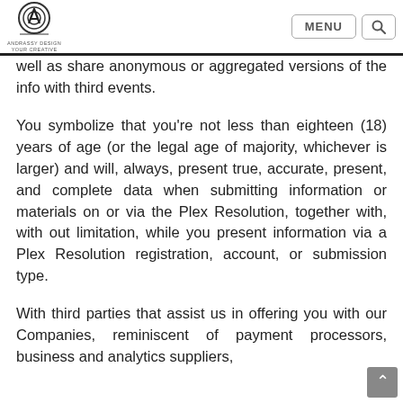Andrassy Design — MENU [search]
well as share anonymous or aggregated versions of the info with third events.
You symbolize that you're not less than eighteen (18) years of age (or the legal age of majority, whichever is larger) and will, always, present true, accurate, present, and complete data when submitting information or materials on or via the Plex Resolution, together with, with out limitation, while you present information via a Plex Resolution registration, account, or submission type.
With third parties that assist us in offering you with our Companies, reminiscent of payment processors, business and analytics suppliers,